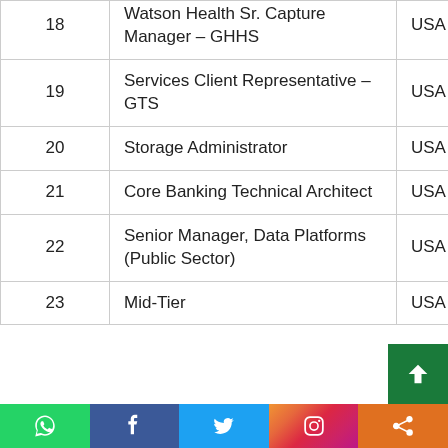| # | Position | Country |
| --- | --- | --- |
| 18 | Watson Health Sr. Capture Manager – GHHS | USA |
| 19 | Services Client Representative – GTS | USA |
| 20 | Storage Administrator | USA |
| 21 | Core Banking Technical Architect | USA |
| 22 | Senior Manager, Data Platforms (Public Sector) | USA |
| 23 | Mid-Tier ... | USA |